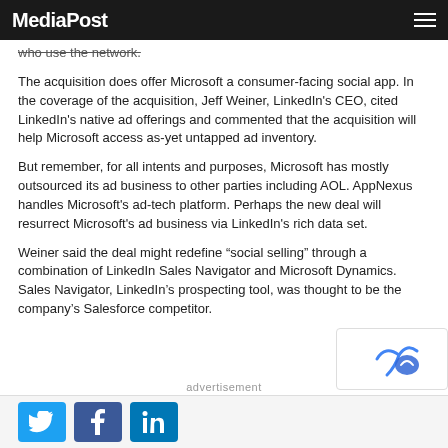MediaPost
who use the network.
The acquisition does offer Microsoft a consumer-facing social app. In the coverage of the acquisition, Jeff Weiner, LinkedIn's CEO, cited LinkedIn's native ad offerings and commented that the acquisition will help Microsoft access as-yet untapped ad inventory.
But remember, for all intents and purposes, Microsoft has mostly outsourced its ad business to other parties including AOL. AppNexus handles Microsoft's ad-tech platform. Perhaps the new deal will resurrect Microsoft's ad business via LinkedIn's rich data set.
Weiner said the deal might redefine “social selling” through a combination of LinkedIn Sales Navigator and Microsoft Dynamics. Sales Navigator, LinkedIn’s prospecting tool, was thought to be the company’s Salesforce competitor.